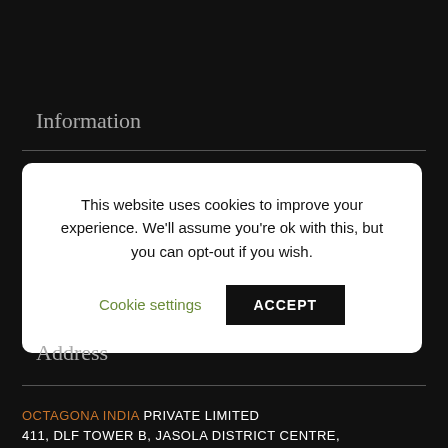Information
[Figure (screenshot): Cookie consent modal dialog with text: 'This website uses cookies to improve your experience. We'll assume you're ok with this, but you can opt-out if you wish.' with 'Cookie settings' link in green and 'ACCEPT' button in black.]
Address
OCTAGONA INDIA PRIVATE LIMITED
411, DLF TOWER B, JASOLA DISTRICT CENTRE,